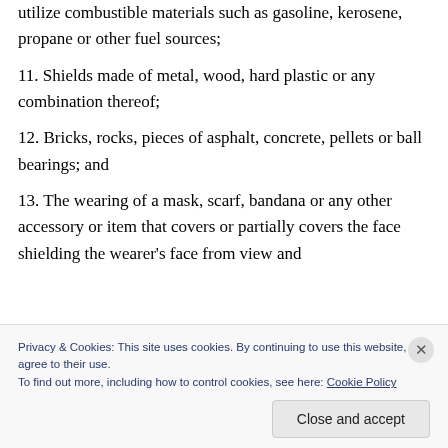utilize combustible materials such as gasoline, kerosene, propane or other fuel sources;
11. Shields made of metal, wood, hard plastic or any combination thereof;
12. Bricks, rocks, pieces of asphalt, concrete, pellets or ball bearings; and
13. The wearing of a mask, scarf, bandana or any other accessory or item that covers or partially covers the face shielding the wearer's face from view and
Privacy & Cookies: This site uses cookies. By continuing to use this website, you agree to their use. To find out more, including how to control cookies, see here: Cookie Policy
Close and accept